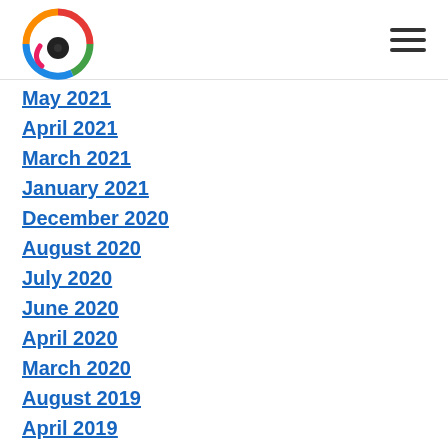[Logo and navigation menu icon]
May 2021
April 2021
March 2021
January 2021
December 2020
August 2020
July 2020
June 2020
April 2020
March 2020
August 2019
April 2019
March 2019
February 2019
January 2019
December 2018
November 2018